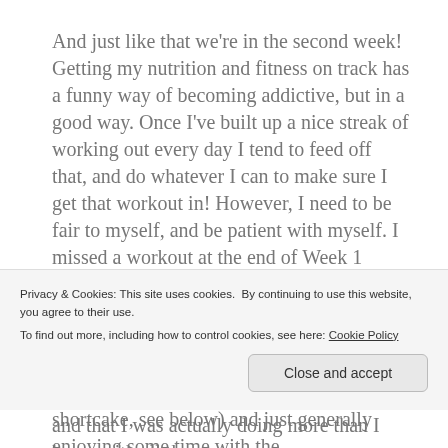And just like that we're in the second week! Getting my nutrition and fitness on track has a funny way of becoming addictive, but in a good way. Once I've built up a nice streak of working out every day I tend to feed off that, and do whatever I can to make sure I get that workout in! However, I need to be fair to myself, and be patient with myself. I missed a workout at the end of Week 1 (Saturday). We had family over that day, family that was in town and hadn't met our little bean yet, and between getting the house into a 'presentable' state, making a dessert (I made a healthy-ish strawberry shortcake, see below) and just generally enjoying some time with the
Privacy & Cookies: This site uses cookies. By continuing to use this website, you agree to their use. To find out more, including how to control cookies, see here: Cookie Policy
Close and accept
and that I was actually doing more than I knew with all the